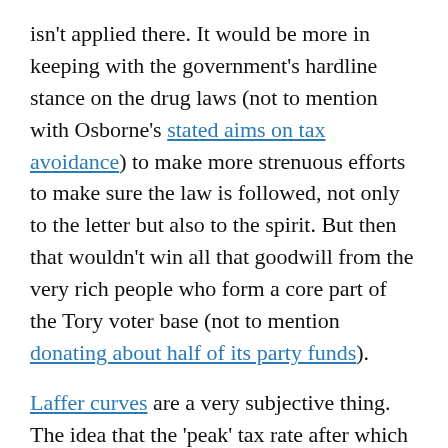isn't applied there. It would be more in keeping with the government's hardline stance on the drug laws (not to mention with Osborne's stated aims on tax avoidance) to make more strenuous efforts to make sure the law is followed, not only to the letter but also to the spirit. But then that wouldn't win all that goodwill from the very rich people who form a core part of the Tory voter base (not to mention donating about half of its party funds).
Laffer curves are a very subjective thing. The idea that the 'peak' tax rate after which revenue from taxation begins to decrease is at exactly 45%, or 50% for that matter, is